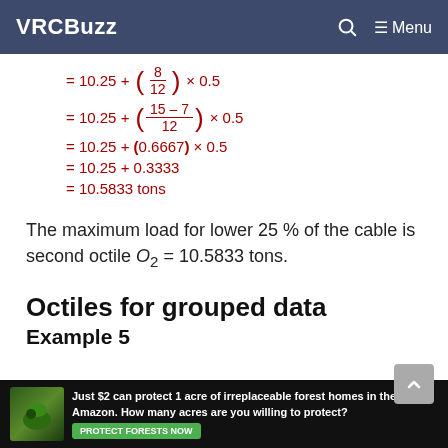VRCBuzz
The maximum load for lower 25 % of the cable is second octile O₂ = 10.5833 tons.
Octiles for grouped data
Example 5